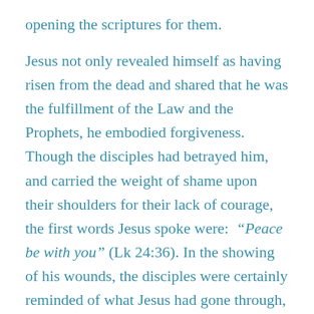opening the scriptures for them.

Jesus not only revealed himself as having risen from the dead and shared that he was the fulfillment of the Law and the Prophets, he embodied forgiveness. Though the disciples had betrayed him, and carried the weight of shame upon their shoulders for their lack of courage, the first words Jesus spoke were: “Peace be with you” (Lk 24:36). In the showing of his wounds, the disciples were certainly reminded of what Jesus had gone through, his suffering and crucifixion.